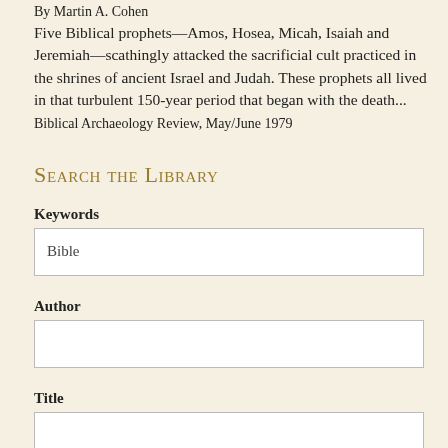By Martin A. Cohen
Five Biblical prophets—Amos, Hosea, Micah, Isaiah and Jeremiah—scathingly attacked the sacrificial cult practiced in the shrines of ancient Israel and Judah. These prophets all lived in that turbulent 150-year period that began with the death...
Biblical Archaeology Review, May/June 1979
Search the Library
Keywords
Bible
Author
Title